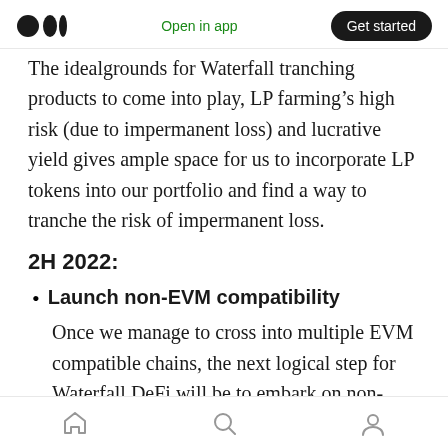Open in app | Get started
The idealgrounds for Waterfall tranching products to come into play, LP farming's high risk (due to impermanent loss) and lucrative yield gives ample space for us to incorporate LP tokens into our portfolio and find a way to tranche the risk of impermanent loss.
2H 2022:
Launch non-EVM compatibility
Once we manage to cross into multiple EVM compatible chains, the next logical step for Waterfall DeFi will be to embark on non-EVM compatible chains to preach the tranching
Home | Search | Profile